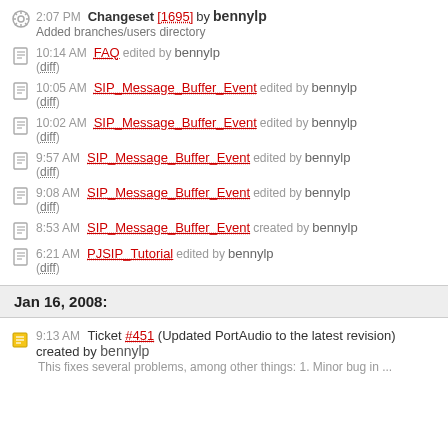2:07 PM Changeset [1695] by bennylp — Added branches/users directory
10:14 AM FAQ edited by bennylp (diff)
10:05 AM SIP_Message_Buffer_Event edited by bennylp (diff)
10:02 AM SIP_Message_Buffer_Event edited by bennylp (diff)
9:57 AM SIP_Message_Buffer_Event edited by bennylp (diff)
9:08 AM SIP_Message_Buffer_Event edited by bennylp (diff)
8:53 AM SIP_Message_Buffer_Event created by bennylp
6:21 AM PJSIP_Tutorial edited by bennylp (diff)
Jan 16, 2008:
9:13 AM Ticket #451 (Updated PortAudio to the latest revision) created by bennylp — This fixes several problems, among other things: 1. Minor bug in ...